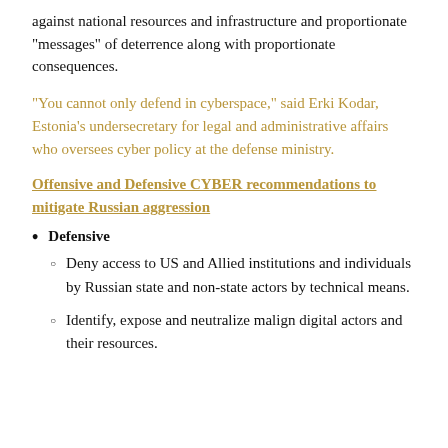against national resources and infrastructure and proportionate "messages" of deterrence along with proportionate consequences.
"You cannot only defend in cyberspace," said Erki Kodar, Estonia's undersecretary for legal and administrative affairs who oversees cyber policy at the defense ministry.
Offensive and Defensive CYBER recommendations to mitigate Russian aggression
Defensive
Deny access to US and Allied institutions and individuals by Russian state and non-state actors by technical means.
Identify, expose and neutralize malign digital actors and their resources.